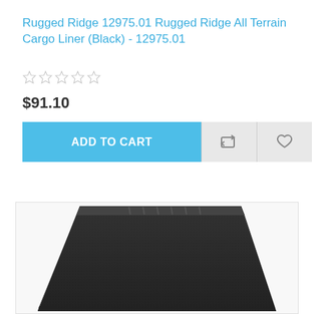Rugged Ridge 12975.01 Rugged Ridge All Terrain Cargo Liner (Black) - 12975.01
☆☆☆☆☆
$91.10
[Figure (screenshot): E-commerce product page showing Add to Cart button (blue), compare icon button (gray), and heart/wishlist icon button (gray)]
[Figure (photo): Black Rugged Ridge All Terrain Cargo Liner mat shown from an angle, displaying its tray-like shape with raised edges]